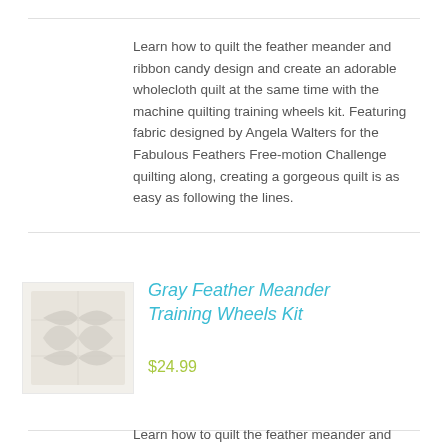Learn how to quilt the feather meander and ribbon candy design and create an adorable wholecloth quilt at the same time with the machine quilting training wheels kit. Featuring fabric designed by Angela Walters for the Fabulous Feathers Free-motion Challenge quilting along, creating a gorgeous quilt is as easy as following the lines.
[Figure (photo): Product thumbnail image showing a gray feather meander training wheels kit quilt panel, light gray/beige tones]
Gray Feather Meander Training Wheels Kit
$24.99
Learn how to quilt the feather meander and ribbon